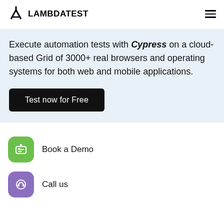LAMBDATEST
Execute automation tests with Cypress on a cloud-based Grid of 3000+ real browsers and operating systems for both web and mobile applications.
Test now for Free
Book a Demo
Call us